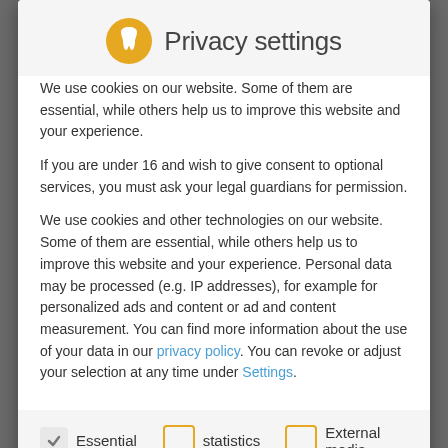Privacy settings
We use cookies on our website. Some of them are essential, while others help us to improve this website and your experience.
If you are under 16 and wish to give consent to optional services, you must ask your legal guardians for permission.
We use cookies and other technologies on our website. Some of them are essential, while others help us to improve this website and your experience. Personal data may be processed (e.g. IP addresses), for example for personalized ads and content or ad and content measurement. You can find more information about the use of your data in our privacy policy. You can revoke or adjust your selection at any time under Settings.
Essential
statistics
External media
Fr.  8:30 a.m. to 1:00 p.m.